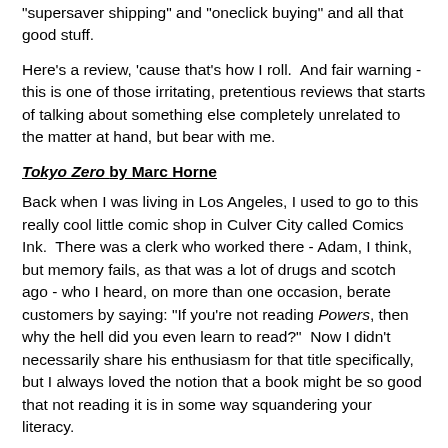"supersaver shipping" and "oneclick buying" and all that good stuff.
Here's a review, 'cause that's how I roll.  And fair warning - this is one of those irritating, pretentious reviews that starts of talking about something else completely unrelated to the matter at hand, but bear with me.
Tokyo Zero by Marc Horne
Back when I was living in Los Angeles, I used to go to this really cool little comic shop in Culver City called Comics Ink.  There was a clerk who worked there - Adam, I think, but memory fails, as that was a lot of drugs and scotch ago - who I heard, on more than one occasion, berate customers by saying: "If you're not reading Powers, then why the hell did you even learn to read?"  Now I didn't necessarily share his enthusiasm for that title specifically, but I always loved the notion that a book might be so good that not reading it is in some way squandering your literacy.
[Figure (other): Partial view of a book cover or image at the bottom of the page, partially cut off.]